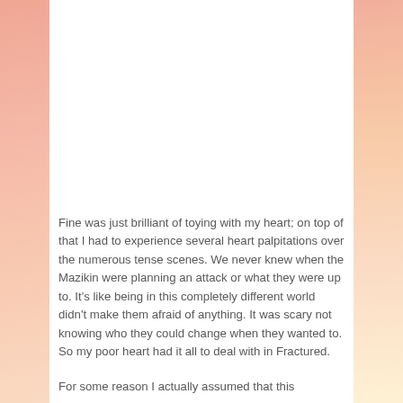Fine was just brilliant of toying with my heart; on top of that I had to experience several heart palpitations over the numerous tense scenes. We never knew when the Mazikin were planning an attack or what they were up to. It's like being in this completely different world didn't make them afraid of anything. It was scary not knowing who they could change when they wanted to. So my poor heart had it all to deal with in Fractured.
For some reason I actually assumed that this